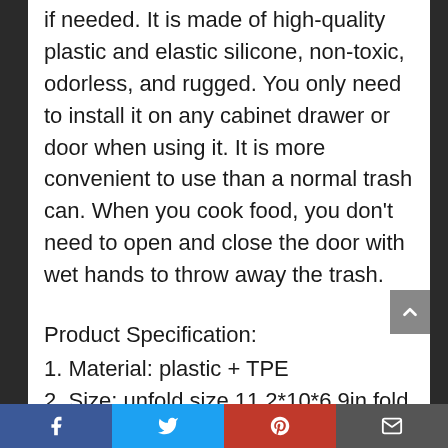if needed. It is made of high-quality plastic and elastic silicone, non-toxic, odorless, and rugged. You only need to install it on any cabinet drawer or door when using it. It is more convenient to use than a normal trash can. When you cook food, you don't need to open and close the door with wet hands to throw away the trash.
Product Specification:
1. Material: plastic + TPE
2. Size: unfold size 11.2*10*6.9in,fold size 11.2*10*2.1in
3. Capacity: 9 liters
4. Color: brown